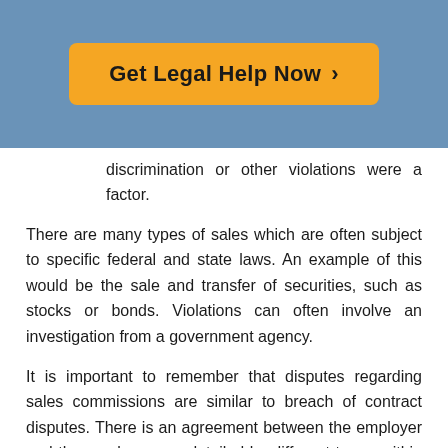[Figure (other): Blue banner with orange 'Get Legal Help Now >' call-to-action button]
discrimination or other violations were a factor.
There are many types of sales which are often subject to specific federal and state laws. An example of this would be the sale and transfer of securities, such as stocks or bonds. Violations can often involve an investigation from a government agency.
It is important to remember that disputes regarding sales commissions are similar to breach of contract disputes. There is an agreement between the employer and the employee, as detailed by different terms within the sales commission contract. Should any of these terms be violated, it would be considered a breach of contract. As such, remedies for breach of contract may be considered when determining remedies for sale